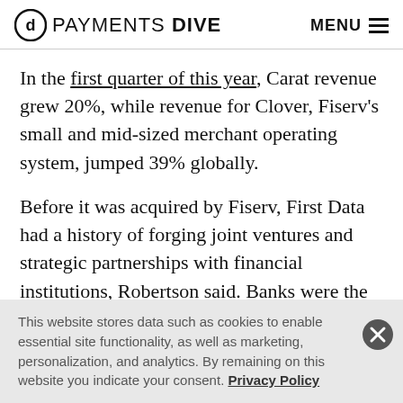PAYMENTS DIVE | MENU
In the first quarter of this year, Carat revenue grew 20%, while revenue for Clover, Fiserv's small and mid-sized merchant operating system, jumped 39% globally.
Before it was acquired by Fiserv, First Data had a history of forging joint ventures and strategic partnerships with financial institutions, Robertson said. Banks were the acquirers but they farmed out the technology to a third party specialist which would operate the point-of-sale
This website stores data such as cookies to enable essential site functionality, as well as marketing, personalization, and analytics. By remaining on this website you indicate your consent. Privacy Policy